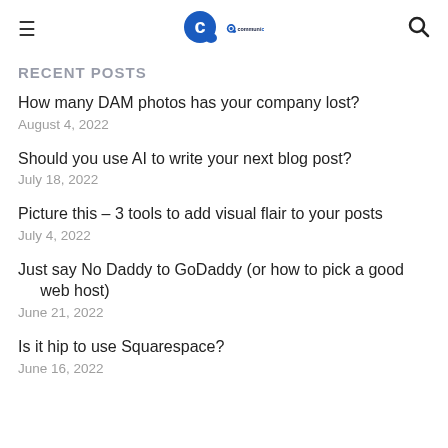communicatto
RECENT POSTS
How many DAM photos has your company lost?
August 4, 2022
Should you use AI to write your next blog post?
July 18, 2022
Picture this – 3 tools to add visual flair to your posts
July 4, 2022
Just say No Daddy to GoDaddy (or how to pick a good web host)
June 21, 2022
Is it hip to use Squarespace?
June 16, 2022